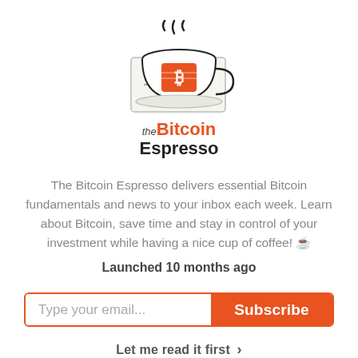[Figure (logo): The Bitcoin Espresso logo: a steaming coffee cup with a newspaper and Bitcoin symbol, with text 'the Bitcoin Espresso' below]
The Bitcoin Espresso delivers essential Bitcoin fundamentals and news to your inbox each week. Learn about Bitcoin, save time and stay in control of your investment while having a nice cup of coffee! ☕
Launched 10 months ago
[Figure (other): Email subscription form with 'Type your email...' input field and orange 'Subscribe' button]
Let me read it first  >